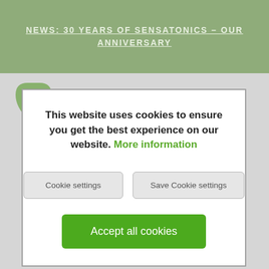NEWS: 30 YEARS OF SENSATONICS - OUR ANNIVERSARY
[Figure (screenshot): Website screenshot showing cookie consent modal dialog over a product website for Sensatonics. The modal contains cookie notice text, a 'More information' link in green, two outline buttons for 'Cookie settings' and 'Save Cookie settings', and a green 'Accept all cookies' button. Background shows a green logo and a product bottle image.]
This website uses cookies to ensure you get the best experience on our website. More information
Cookie settings
Save Cookie settings
Accept all cookies